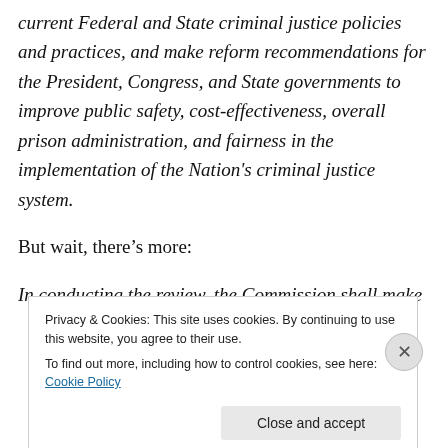current Federal and State criminal justice policies and practices, and make reform recommendations for the President, Congress, and State governments to improve public safety, cost-effectiveness, overall prison administration, and fairness in the implementation of the Nation's criminal justice system.
But wait, there's more:
In conducting the review, the Commission shall make such findings as it deems appropriate, including…an examination of current drug policy and its impact on
Privacy & Cookies: This site uses cookies. By continuing to use this website, you agree to their use.
To find out more, including how to control cookies, see here: Cookie Policy